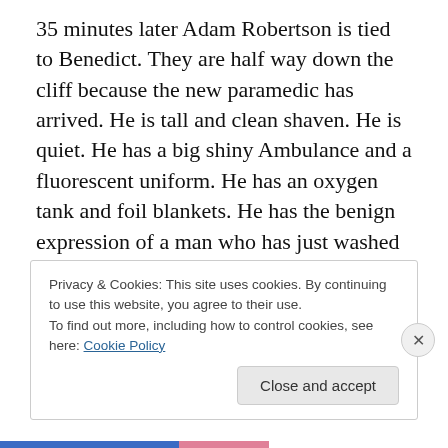35 minutes later Adam Robertson is tied to Benedict. They are half way down the cliff because the new paramedic has arrived. He is tall and clean shaven. He is quiet. He has a big shiny Ambulance and a fluorescent uniform. He has an oxygen tank and foil blankets. He has the benign expression of a man who has just washed his hands and can resuscitate a dying woman without getting an erection. He has more qualifications to be there watching no one get hurt than I will ever have for running the whole shebang.
Privacy & Cookies: This site uses cookies. By continuing to use this website, you agree to their use.
To find out more, including how to control cookies, see here: Cookie Policy
Close and accept